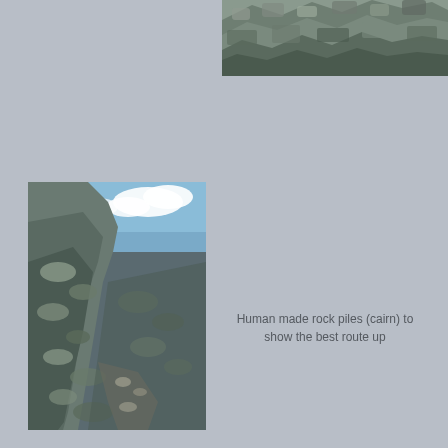[Figure (photo): Aerial or close-up photograph of rocky mountain terrain with large boulders and rocks, top-right portion of page]
[Figure (photo): Photograph of a rocky mountain trail/path with cairn (human-made rock pile) visible, blue sky with clouds in upper portion, tall rock face with layered boulders]
Human made rock piles (cairn) to show the best route up